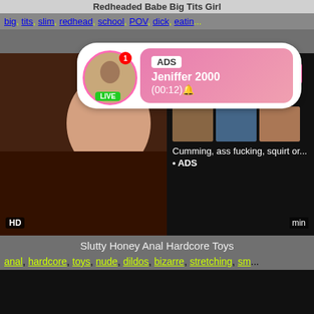Redheaded Babe Big Tits Girl
big, tits, slim, redhead, school, POV, dick, eatin...
[Figure (screenshot): Advertisement overlay with live avatar, ADS label, name Jeniffer 2000, time (00:12)]
[Figure (screenshot): Video thumbnail of adult content with HD badge, and ad panel showing WHAT DO YOU WANT? WATCH button, Online status, thumbnails, and text: Cumming, ass fucking, squirt or... ADS]
Slutty Honey Anal Hardcore Toys
anal, hardcore, toys, nude, dildos, bizarre, stretching, sm...
[Figure (screenshot): Black video player area at bottom of page]